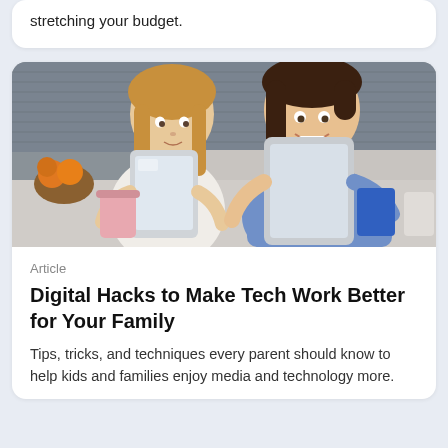stretching your budget.
[Figure (photo): A young girl and a smiling woman each holding tablet devices, seated at a kitchen counter with a stone tile backsplash and fruit bowl in the background.]
Article
Digital Hacks to Make Tech Work Better for Your Family
Tips, tricks, and techniques every parent should know to help kids and families enjoy media and technology more.